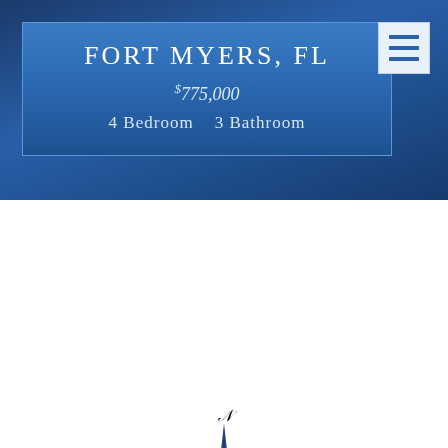FORT MYERS, FL
$775,000
4 Bedroom   3 Bathroom
[Figure (logo): Compass rose with a kingfisher bird in the center, showing N, S, E, W cardinal directions, dark navy and orange colored bird with spread wings overlaid on a four-pointed star compass]